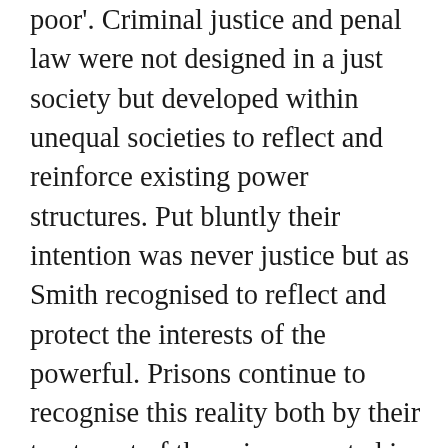poor'. Criminal justice and penal law were not designed in a just society but developed within unequal societies to reflect and reinforce existing power structures. Put bluntly their intention was never justice but as Smith recognised to reflect and protect the interests of the powerful. Prisons continue to recognise this reality both by their treatment of those incarcerated in them and through the threat of their use against a wider population. The disproportionate and